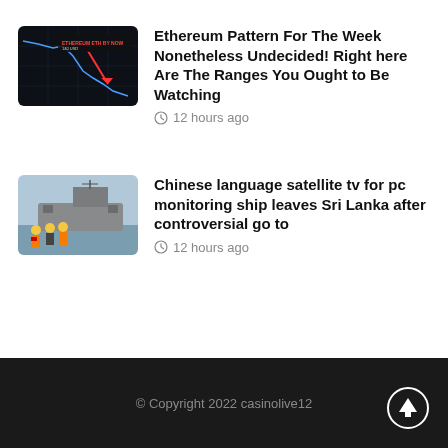[Figure (screenshot): Thumbnail showing a dark crypto chart with a red downward arrow and text overlay]
Ethereum Pattern For The Week Nonetheless Undecided! Right here Are The Ranges You Ought to Be Watching
12 hours ago
[Figure (photo): Thumbnail of a Chinese surveillance ship with workers in orange and yellow safety gear in the foreground]
Chinese language satellite tv for pc monitoring ship leaves Sri Lanka after controversial go to
12 hours ago
© Copyright 2022 casinolive12